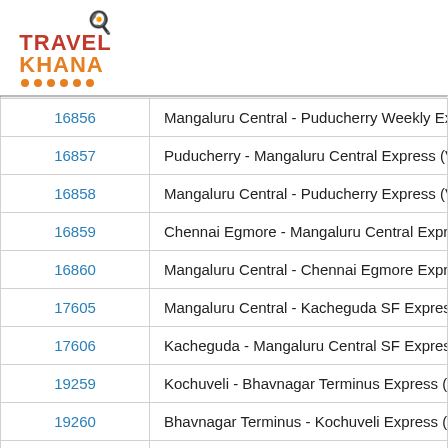[Figure (logo): TravelKhana logo with chef hat icon, red TRAVEL text and orange KHANA text with orange dots underline]
| Train No. | Train Name |
| --- | --- |
| 16856 | Mangaluru Central - Puducherry Weekly Expr |
| 16857 | Puducherry - Mangaluru Central Express (Vi |
| 16858 | Mangaluru Central - Puducherry Express (Vi |
| 16859 | Chennai Egmore - Mangaluru Central Expres |
| 16860 | Mangaluru Central - Chennai Egmore Expres |
| 17605 | Mangaluru Central - Kacheguda SF Express |
| 17606 | Kacheguda - Mangaluru Central SF Express |
| 19259 | Kochuveli - Bhavnagar Terminus Express (P |
| 19260 | Bhavnagar Terminus - Kochuveli Express (P |
| 19261 | Kochuveli - Porbandar Weekly SF Express (P |